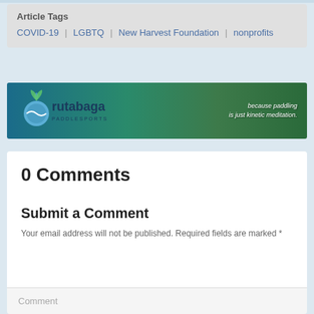Article Tags
COVID-19 | LGBTQ | New Harvest Foundation | nonprofits
[Figure (other): Rutabaga Paddlesports advertisement banner with logo and tagline 'because paddling is just kinetic meditation.']
0 Comments
Submit a Comment
Your email address will not be published. Required fields are marked *
Comment